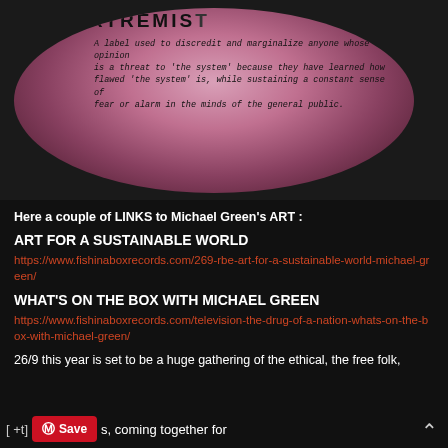[Figure (photo): Photo of a circular/oval object (possibly a painted record or plate) with the word EXTREMIST visible at top and handwritten text defining the label as used to discredit and marginalize people.]
Here a couple of LINKS to Michael Green's ART :
ART FOR A SUSTAINABLE WORLD
https://www.fishinaboxrecords.com/269-rbe-art-for-a-sustainable-world-michael-green/
WHAT'S ON THE BOX WITH MICHAEL GREEN
https://www.fishinaboxrecords.com/television-the-drug-of-a-nation-whats-on-the-box-with-michael-green/
26/9 this year is set to be a huge gathering of the ethical, the free folk, the... s, coming together for